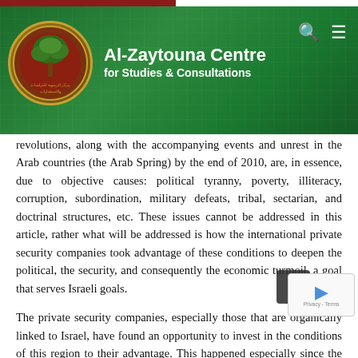[Figure (logo): Al-Zaytouna Centre for Studies & Consultations website header with green background, organization logo (circular emblem with olive tree), organization name in white text, search and menu icons]
revolutions, along with the accompanying events and unrest in the Arab countries (the Arab Spring) by the end of 2010, are, in essence, due to objective causes: political tyranny, poverty, illiteracy, corruption, subordination, military defeats, tribal, sectarian, and doctrinal structures, etc. These issues cannot be addressed in this article, rather what will be addressed is how the international private security companies took advantage of these conditions to deepen the political, the security, and consequently the economic turmoil, a goal that serves Israeli goals.
The private security companies, especially those that are organically linked to Israel, have found an opportunity to invest in the conditions of this region to their advantage. This happened especially since the countries of this region have sufficient financial capabilities to pay them (One of the